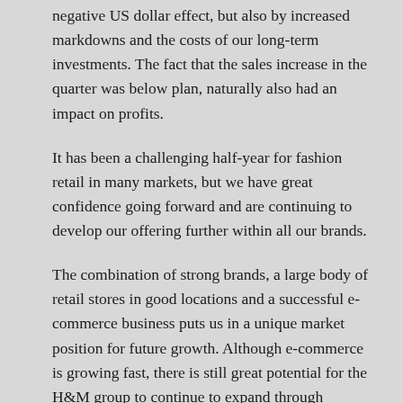negative US dollar effect, but also by increased markdowns and the costs of our long-term investments. The fact that the sales increase in the quarter was below plan, naturally also had an impact on profits.
It has been a challenging half-year for fashion retail in many markets, but we have great confidence going forward and are continuing to develop our offering further within all our brands.
The combination of strong brands, a large body of retail stores in good locations and a successful e-commerce business puts us in a unique market position for future growth. Although e-commerce is growing fast, there is still great potential for the H&M group to continue to expand through physical stores – so for us, our continued focus is to grow both through physical stores and online, as well as to integrate these two sales channels. Our stores and online business complement each